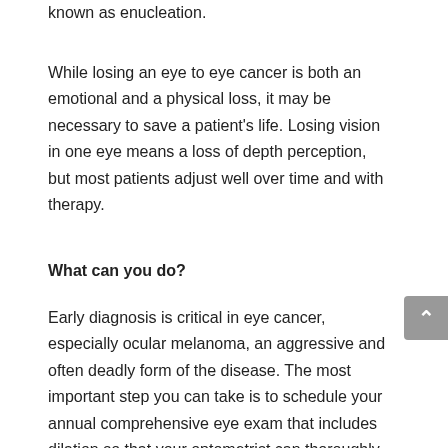known as enucleation.
While losing an eye to eye cancer is both an emotional and a physical loss, it may be necessary to save a patient's life. Losing vision in one eye means a loss of depth perception, but most patients adjust well over time and with therapy.
What can you do?
Early diagnosis is critical in eye cancer, especially ocular melanoma, an aggressive and often deadly form of the disease. The most important step you can take is to schedule your annual comprehensive eye exam that includes dilation so that your optometrist can thoroughly examine your